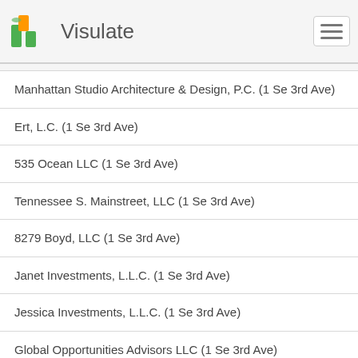Visulate
Manhattan Studio Architecture & Design, P.C. (1 Se 3rd Ave)
Ert, L.C. (1 Se 3rd Ave)
535 Ocean LLC (1 Se 3rd Ave)
Tennessee S. Mainstreet, LLC (1 Se 3rd Ave)
8279 Boyd, LLC (1 Se 3rd Ave)
Janet Investments, L.L.C. (1 Se 3rd Ave)
Jessica Investments, L.L.C. (1 Se 3rd Ave)
Global Opportunities Advisors LLC (1 Se 3rd Ave)
Daysi LLC (1 Se 3rd Ave)
Blue Onyx 1039 21st Street LLC (1 Se 3rd Ave)